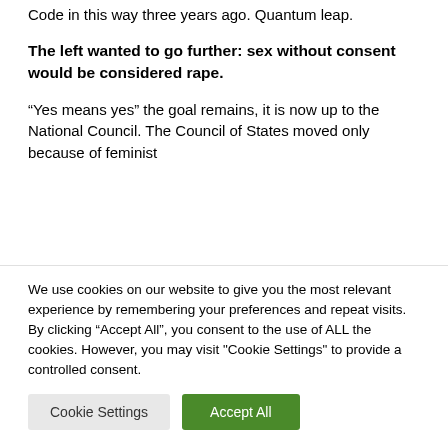Code in this way three years ago. Quantum leap.
The left wanted to go further: sex without consent would be considered rape.
“Yes means yes” the goal remains, it is now up to the National Council. The Council of States moved only because of feminist
We use cookies on our website to give you the most relevant experience by remembering your preferences and repeat visits. By clicking “Accept All”, you consent to the use of ALL the cookies. However, you may visit "Cookie Settings" to provide a controlled consent.